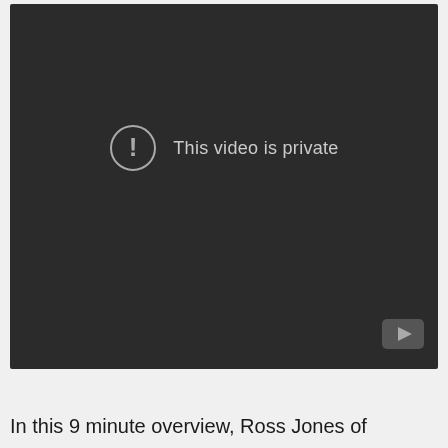[Figure (screenshot): A dark YouTube video player showing a private video error. The player has a dark background (#2b2b2b) with an exclamation mark icon in a circle and the text 'This video is private' centered in the upper portion. A YouTube play button icon is visible in the bottom-right corner.]
In this 9 minute overview, Ross Jones of